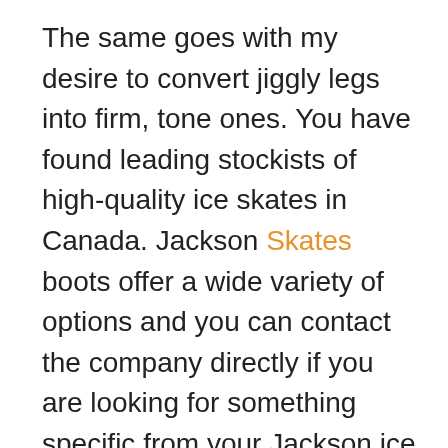The same goes with my desire to convert jiggly legs into firm, tone ones. You have found leading stockists of high-quality ice skates in Canada. Jackson Skates boots offer a wide variety of options and you can contact the company directly if you are looking for something specific from your Jackson ice skates. If you are more daring and wanted more thrill, your family can always try ice skating. Focus on moves that keep your knees and ankles bent to break in skates more quickly. Practice walking on the black mats around the rink and focus on one point. One of the most important parts of your skater's wardrobe should be a comfortable pair of thin, seamless socks. If your metabolism is interfered with, large amounts of glucose will be stored as fats in different parts of your body and increase your weight. A neutral pitch makes your foot flat and balances your weight in the middle